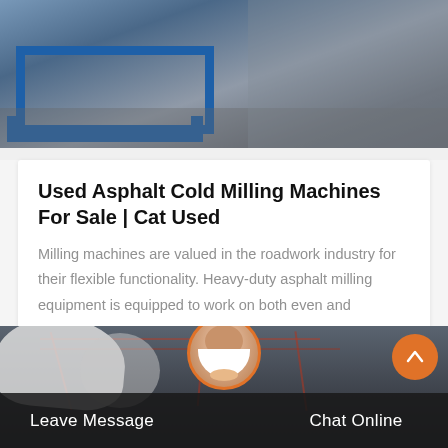[Figure (photo): Industrial equipment (blue metal frame/table) on a factory floor, gray concrete background]
Used Asphalt Cold Milling Machines For Sale | Cat Used
Milling machines are valued in the roadwork industry for their flexible functionality. Heavy-duty asphalt milling equipment is equipped to work on both even and uneven…
Get Price
[Figure (photo): Industrial factory interior with cranes and overhead structures, worker with white hard hat visible on left. Leave Message and Chat Online buttons at bottom with customer service avatar in center.]